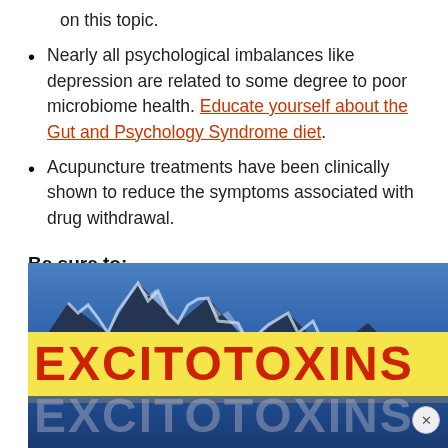on this topic.
Nearly all psychological imbalances like depression are related to some degree to poor microbiome health. Educate yourself about the Gut and Psychology Syndrome diet.
Acupuncture treatments have been clinically shown to reduce the symptoms associated with drug withdrawal.
Be sure to:
[Figure (photo): Book cover for 'Excitotoxins' showing mountains/waves in background with yellow banner and red bold text reading EXCITOTOXINS, with a reflected/shadowed repeat below.]